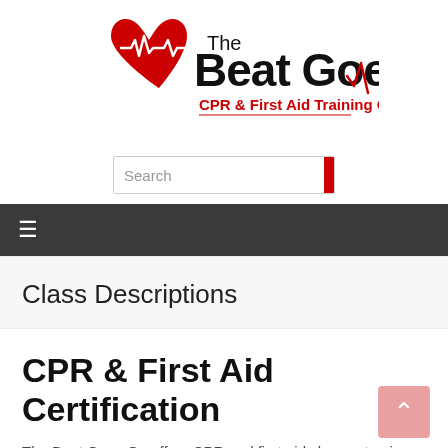[Figure (logo): The Beat Goes On CPR & First Aid Training Center logo with red heart and EKG line]
[Figure (other): Search bar with red search button]
[Figure (other): Dark navigation bar with hamburger menu icon]
Class Descriptions
CPR & First Aid Certification
The Beat Goes On offers CPR and first aid classes to give you